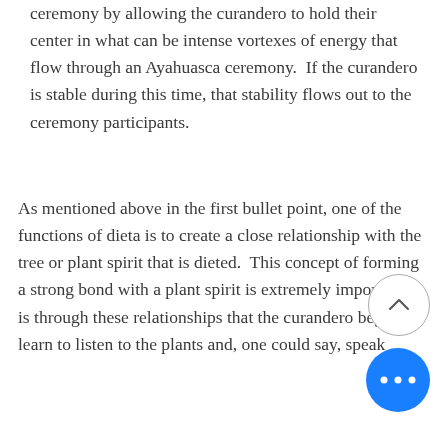ceremony by allowing the curandero to hold their center in what can be intense vortexes of energy that flow through an Ayahuasca ceremony.  If the curandero is stable during this time, that stability flows out to the ceremony participants.
As mentioned above in the first bullet point, one of the functions of dieta is to create a close relationship with the tree or plant spirit that is dieted.  This concept of forming a strong bond with a plant spirit is extremely important. It is through these relationships that the curandero begins to learn to listen to the plants and, one could say, speak